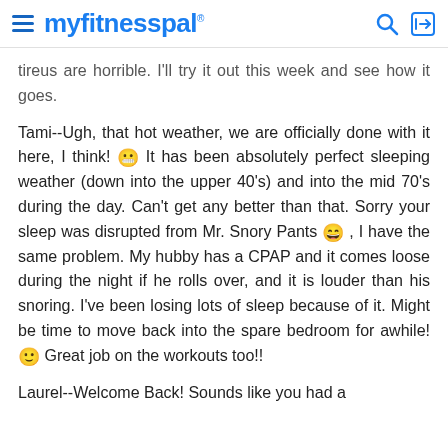myfitnesspal
tireus are horrible. I'll try it out this week and see how it goes.
Tami--Ugh, that hot weather, we are officially done with it here, I think! 😬 It has been absolutely perfect sleeping weather (down into the upper 40's) and into the mid 70's during the day. Can't get any better than that. Sorry your sleep was disrupted from Mr. Snory Pants 😄 , I have the same problem. My hubby has a CPAP and it comes loose during the night if he rolls over, and it is louder than his snoring. I've been losing lots of sleep because of it. Might be time to move back into the spare bedroom for awhile! 🙂 Great job on the workouts too!!
Laurel--Welcome Back! Sounds like you had a